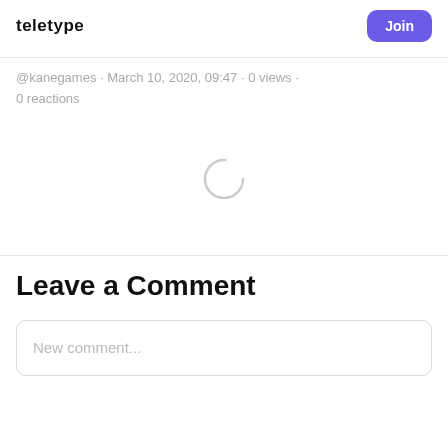TELETYPE
demand, revenue, and growth rate.
@kanegames · March 10, 2020, 09:47 · 0 views · 0 reactions
[Figure (other): Loading spinner icon (circular arc)]
Leave a Comment
New comment...